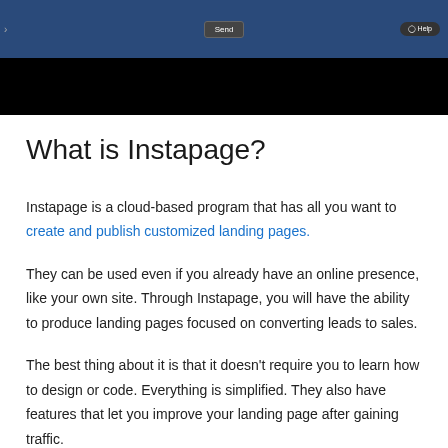[Figure (screenshot): Screenshot of Instapage web application interface showing a blue header toolbar with a Save button and a Help button on the right, with a black area below.]
What is Instapage?
Instapage is a cloud-based program that has all you want to create and publish customized landing pages.
They can be used even if you already have an online presence, like your own site. Through Instapage, you will have the ability to produce landing pages focused on converting leads to sales.
The best thing about it is that it doesn’t require you to learn how to design or code. Everything is simplified. They also have features that let you improve your landing page after gaining traffic.